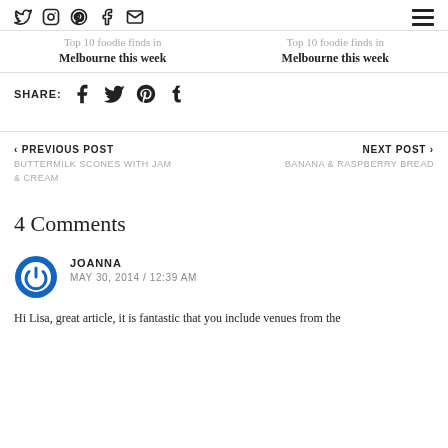Social icons: Twitter, Instagram, Pinterest, Facebook, Email | Hamburger menu
Top 10 foodie finds in Melbourne this week
SHARE: Facebook Twitter Pinterest Tumblr
< PREVIOUS POST  BUTTERMILK SCONES WITH JAM & CREAM
NEXT POST >  BANANA & RASPBERRY BREAD
4 Comments
JOANNA
MAY 30, 2014 / 12:39 AM
Hi Lisa, great article, it is fantastic that you include venues from the